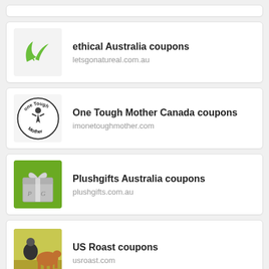[Figure (other): Partial card at top of page]
ethical Australia coupons
letsgonatureal.com.au
[Figure (logo): Green leaf logo for letsgonatureal.com.au]
One Tough Mother Canada coupons
imonetoughmother.com
[Figure (logo): One Tough Mother circular logo]
Plushgifts Australia coupons
plushgifts.com.au
[Figure (logo): Plushgifts green gift box logo]
US Roast coupons
usroast.com
[Figure (photo): Photo of person with horse for US Roast]